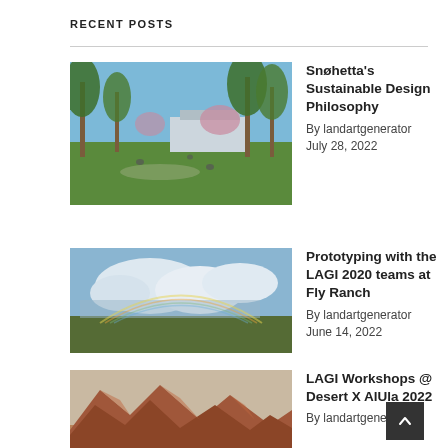RECENT POSTS
[Figure (photo): Green park with birch trees and a modern building in the background, people relaxing on grass]
Snøhetta's Sustainable Design Philosophy
By landartgenerator
July 28, 2022
[Figure (photo): Wide landscape with clouds and a faint rainbow over flat green fields]
Prototyping with the LAGI 2020 teams at Fly Ranch
By landartgenerator
June 14, 2022
[Figure (photo): Desert landscape with red rocky mountains and arid terrain]
LAGI Workshops @ Desert X AlUla 2022
By landartgenerator